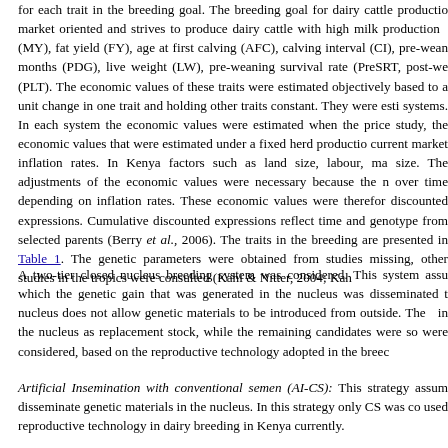for each trait in the breeding goal. The breeding goal for dairy cattle production is market oriented and strives to produce dairy cattle with high milk production (MY), fat yield (FY), age at first calving (AFC), calving interval (CI), pre-weaning daily gain at 12 months (PDG), live weight (LW), pre-weaning survival rate (PreSRT, post-weaning survival rate (PLT). The economic values of these traits were estimated objectively based to a unit change in one trait and holding other traits constant. They were estimated under two systems. In each system the economic values were estimated when the prices changed. In this study, the economic values that were estimated under a fixed herd production system and current market inflation rates. In Kenya factors such as land size, labour, market and herd size. The adjustments of the economic values were necessary because the market prices change over time depending on inflation rates. These economic values were therefore expressed in cumulative discounted expressions. Cumulative discounted expressions reflect time and the rate to generate genotype from selected parents (Berry et al., 2006). The traits in the breeding goal and their parameters are presented in Table 1. The genetic parameters were obtained from studies in Kenya if missing, other studies in the tropics were consulted (Kahi & Nitter, 2004; Kah...
A two-tier closed nucleus breeding system was considered. This system assumes a nucleus in which the genetic gain that was generated in the nucleus was disseminated to the nucleus. The nucleus does not allow genetic materials to be introduced from outside. The daughters were kept in the nucleus as replacement stock, while the remaining candidates were sold. Three strategies were considered, based on the reproductive technology adopted in the breeding program:
Artificial Insemination with conventional semen (AI-CS): This strategy assumes that AI was used to disseminate genetic materials in the nucleus. In this strategy only CS was considered as the used reproductive technology in dairy breeding in Kenya currently.
Artificial Insemination with X-sorted semen (AI-XS): This strategy is similar to AI-CS but in the nucleus. The use of this strategy is currently increasing in Kenya, especia...
Multiple ovulation and embryo transfer with conventional semen (MOET-CS): males and females. It involves stimulating a donor cow to release many ova...